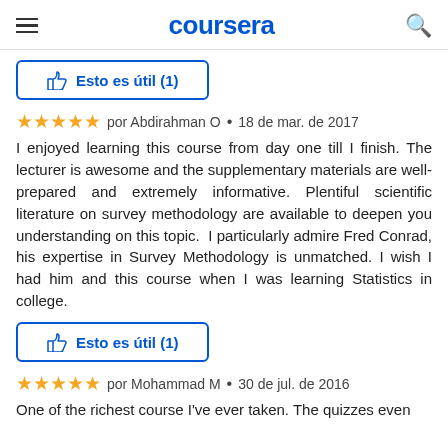coursera
Esto es útil (1)
★★★★★ por Abdirahman O · 18 de mar. de 2017
I enjoyed learning this course from day one till I finish. The lecturer is awesome and the supplementary materials are well-prepared and extremely informative. Plentiful scientific literature on survey methodology are available to deepen you understanding on this topic.  I particularly admire Fred Conrad, his expertise in Survey Methodology is unmatched. I wish I had him and this course when I was learning Statistics in college.
Esto es útil (1)
★★★★★ por Mohammad M · 30 de jul. de 2016
One of the richest course I've ever taken. The quizzes even